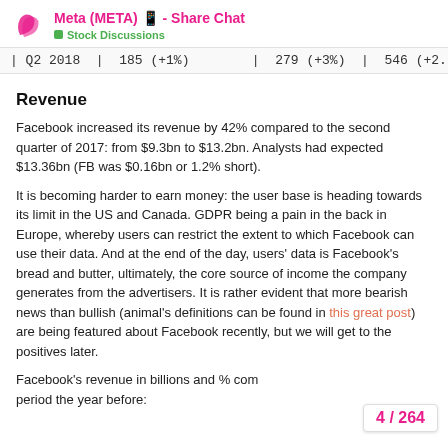Meta (META) 📱 - Share Chat / Stock Discussions
| | Q2 2018 | 185 (+1%) | 279 (+3%) | 546 (+2... |
Revenue
Facebook increased its revenue by 42% compared to the second quarter of 2017: from $9.3bn to $13.2bn. Analysts had expected $13.36bn (FB was $0.16bn or 1.2% short).
It is becoming harder to earn money: the user base is heading towards its limit in the US and Canada. GDPR being a pain in the back in Europe, whereby users can restrict the extent to which Facebook can use their data. And at the end of the day, users' data is Facebook's bread and butter, ultimately, the core source of income the company generates from the advertisers. It is rather evident that more bearish news than bullish (animal's definitions can be found in this great post) are being featured about Facebook recently, but we will get to the positives later.
Facebook's revenue in billions and % compared to the same period the year before:
4 / 264